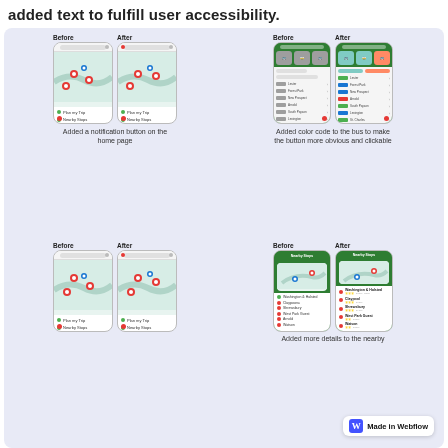added text to fulfill user accessibility.
[Figure (screenshot): Before/After comparison of mobile app home page showing notification button addition. Two phone mockups side by side.]
Added a notification button on the home page
[Figure (screenshot): Before/After comparison of bus list screen showing color coding added to bus buttons to make them more obvious and clickable.]
Added color code to the bus to make the button more obvious and clickable
[Figure (screenshot): Before/After comparison of mobile app home page, second iteration.]
[Figure (screenshot): Before/After comparison of Nearby Stops screen showing added location details.]
Added more details to the nearby